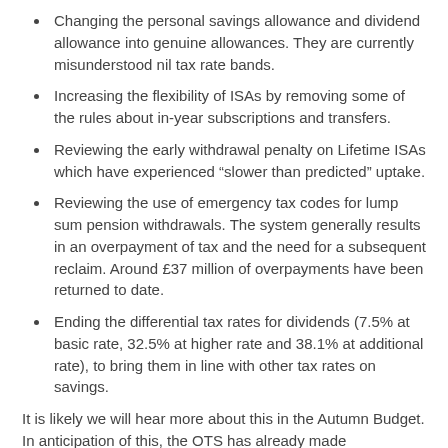Changing the personal savings allowance and dividend allowance into genuine allowances. They are currently misunderstood nil tax rate bands.
Increasing the flexibility of ISAs by removing some of the rules about in-year subscriptions and transfers.
Reviewing the early withdrawal penalty on Lifetime ISAs which have experienced “slower than predicted” uptake.
Reviewing the use of emergency tax codes for lump sum pension withdrawals. The system generally results in an overpayment of tax and the need for a subsequent reclaim. Around £37 million of overpayments have been returned to date.
Ending the differential tax rates for dividends (7.5% at basic rate, 32.5% at higher rate and 38.1% at additional rate), to bring them in line with other tax rates on savings.
It is likely we will hear more about this in the Autumn Budget. In anticipation of this, the OTS has already made